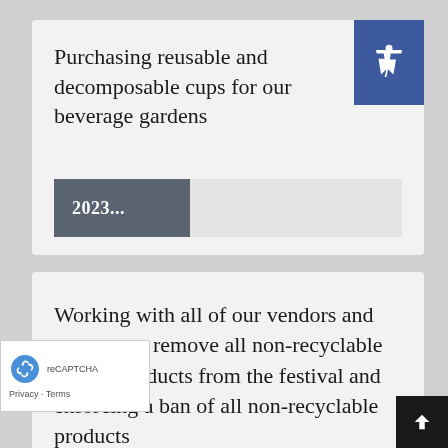Purchasing reusable and decomposable cups for our beverage gardens
2023...
Working with all of our vendors and partners to remove all non-recyclable plastic products from the festival and enforcing a ban of all non-recyclable products